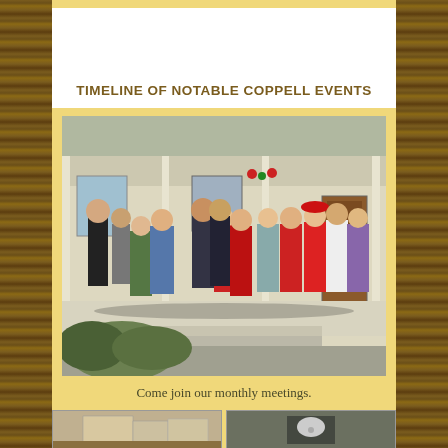TIMELINE OF NOTABLE COPPELL EVENTS
[Figure (photo): Group photo of approximately 15 people standing on a porch of a white historic house, dressed in festive/holiday attire including red outfits, with shrubs visible in the foreground.]
Come join our monthly meetings.
[Figure (photo): Small thumbnail image of a historic building]
[Figure (photo): Small thumbnail image with logo on olive/khaki background]